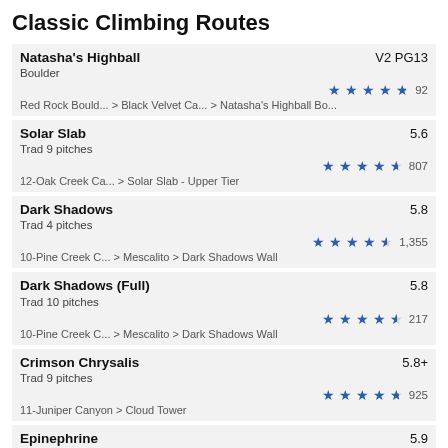Classic Climbing Routes
Natasha's Highball | V2 PG13 | Boulder | 4 stars (partial) | 92 | Red Rock Bould... > Black Velvet Ca... > Natasha's Highball Bo...
Solar Slab | 5.6 | Trad 9 pitches | 4.5 stars | 807 | 12-Oak Creek Ca... > Solar Slab - Upper Tier
Dark Shadows | 5.8 | Trad 4 pitches | 4 stars | 1,355 | 10-Pine Creek C... > Mescalito > Dark Shadows Wall
Dark Shadows (Full) | 5.8 | Trad 10 pitches | 4 stars | 217 | 10-Pine Creek C... > Mescalito > Dark Shadows Wall
Crimson Chrysalis | 5.8+ | Trad 9 pitches | 4.5 stars | 925 | 11-Juniper Canyon > Cloud Tower
Epinephrine | 5.9 | Trad 13 pitches | 4 stars | 1,309 | 16-Black Velvet... > Black Velvet Wall
Big Bad Wolf | 5.9